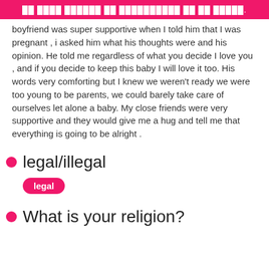██ ████ ██████ ██ ██████████ ██ ██ █████.
boyfriend was super supportive when I told him that I was pregnant , i asked him what his thoughts were and his opinion. He told me regardless of what you decide I love you , and if you decide to keep this baby I will love it too. His words very comforting but I knew we weren't ready we were too young to be parents, we could barely take care of ourselves let alone a baby. My close friends were very supportive and they would give me a hug and tell me that everything is going to be alright .
legal/illegal
legal
What is your religion?